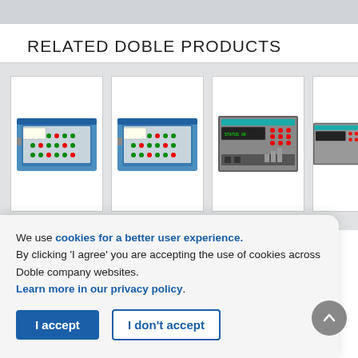RELATED DOBLE PRODUCTS
[Figure (photo): Four Doble product cards showing electronic test equipment instruments. From left to right: F8300 (blue instrument with front panel connectors), F8300 (blue instrument, similar front view), F6150s (rack-mounted grey instrument with control panel), and a partially visible fourth instrument. Products shown against white card backgrounds with light grey surrounding area.]
F8300
F8300
F6150s
F61
We use cookies for a better user experience. By clicking ‘I agree’ you are accepting the use of cookies across Doble company websites. Learn more in our privacy policy.
Test base devi sche
I accept
I don’t accept